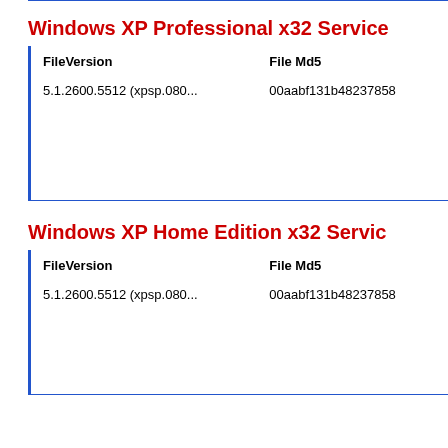Windows XP Professional x32 Service
| FileVersion | File Md5 |
| --- | --- |
| 5.1.2600.5512 (xpsp.080... | 00aabf131b48237858 |
Windows XP Home Edition x32 Servic
| FileVersion | File Md5 |
| --- | --- |
| 5.1.2600.5512 (xpsp.080... | 00aabf131b48237858 |